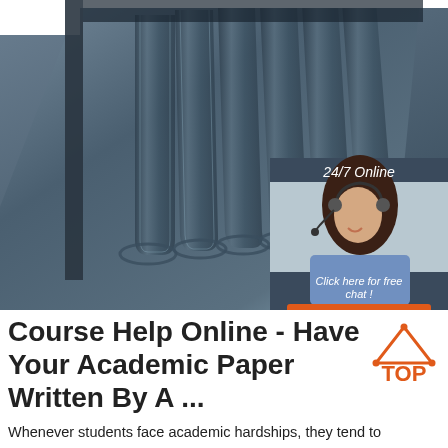[Figure (photo): Close-up photo of a dark blue/grey ribbed solar thermal panel or flat plate collector, shown at an angle from above. In the upper right, an advertisement overlay shows a woman with a headset smiling, with text '24/7 Online', 'Click here for free chat !', and an orange 'QUOTATION' button, all on a dark blue background.]
Course Help Online - Have Your Academic Paper Written By A ...
Whenever students face academic hardships, they tend to